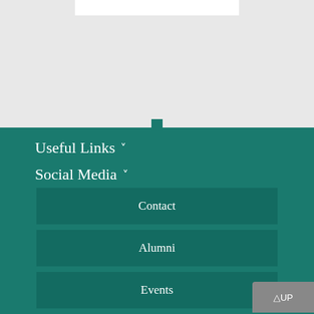[Figure (screenshot): Light gray top section with a white bar at the top center and a teal square indicator near the bottom]
Useful Links ˅
Social Media ˅
Contact
Alumni
Events
Keyword Collection
RSS